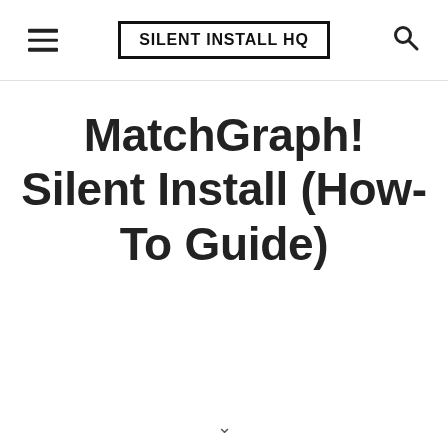SILENT INSTALL HQ
MatchGraph! Silent Install (How-To Guide)